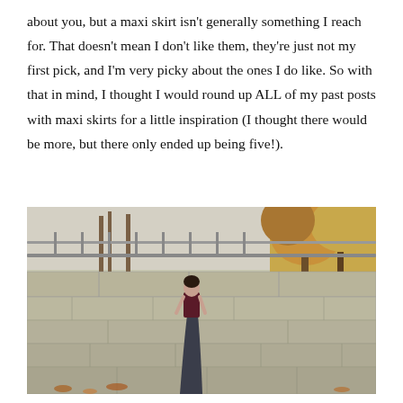about you, but a maxi skirt isn't generally something I reach for. That doesn't mean I don't like them, they're just not my first pick, and I'm very picky about the ones I do like. So with that in mind, I thought I would round up ALL of my past posts with maxi skirts for a little inspiration (I thought there would be more, but there only ended up being five!).
[Figure (photo): A woman wearing a dark maroon sleeveless crop top and a long dark grey/navy maxi skirt, standing in front of a large stone retaining wall with autumn trees and a metal railing visible in the background.]